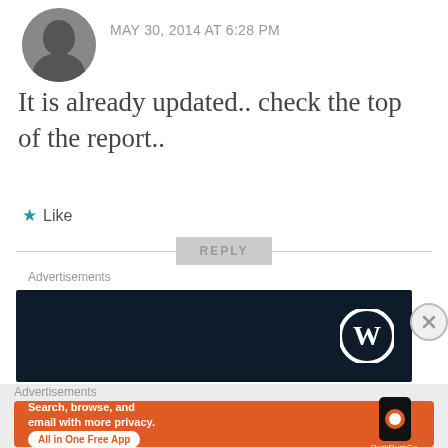[Figure (photo): Circular avatar photo of a man in a dark shirt]
MAY 30, 2014 AT 6:28 PM
It is already updated.. check the top of the report..
★ Like
REPLY
Advertisements
[Figure (logo): WordPress dark banner advertisement with WordPress logo (W in circle)]
Advertisements
[Figure (illustration): DuckDuckGo orange advertisement banner: 'Search, browse, and email with more privacy. All in One Free App' with phone mockup and DuckDuckGo logo]